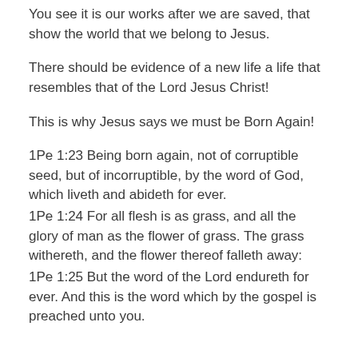You see it is our works after we are saved, that show the world that we belong to Jesus.
There should be evidence of a new life a life that resembles that of the Lord Jesus Christ!
This is why Jesus says we must be Born Again!
1Pe 1:23 Being born again, not of corruptible seed, but of incorruptible, by the word of God, which liveth and abideth for ever.
1Pe 1:24 For all flesh is as grass, and all the glory of man as the flower of grass. The grass withereth, and the flower thereof falleth away:
1Pe 1:25 But the word of the Lord endureth for ever. And this is the word which by the gospel is preached unto you.